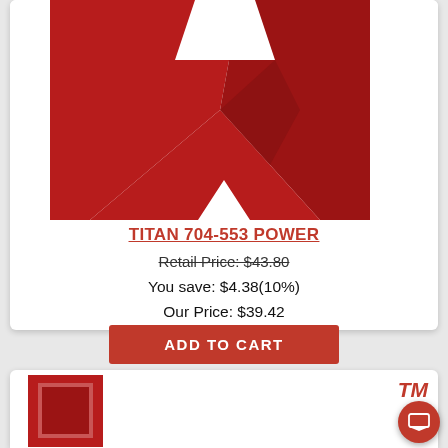[Figure (logo): Red and white geometric shield/diamond shaped logo for Titan product, partially visible at top of first product card]
TITAN 704-553 POWER
Retail Price: $43.80
You save: $4.38(10%)
Our Price: $39.42
ADD TO CART
[Figure (logo): Second product card partially visible at bottom — red square logo/product image with TM trademark symbol]